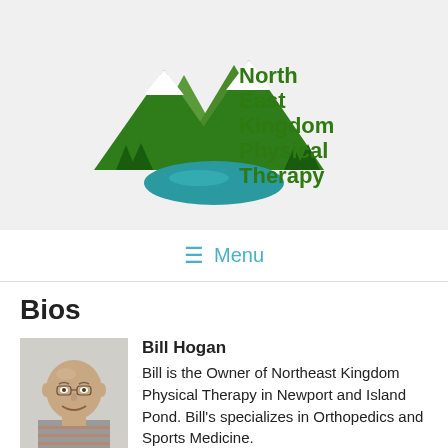[Figure (logo): North East Kingdom Physical Therapy logo with mountain and lake SVG illustration and green text]
≡ Menu
Bios
[Figure (photo): Headshot photo of Bill Hogan, a smiling middle-aged bald man wearing a striped polo shirt]
Bill Hogan
Bill is the Owner of Northeast Kingdom Physical Therapy in Newport and Island Pond. Bill's specializes in Orthopedics and Sports Medicine. Bill has a Bachelor of Science in Sports Medicine from Keene State College and an Master of Science in Physical Therapy from UMASS Lowell. Bill has over 30 years experience